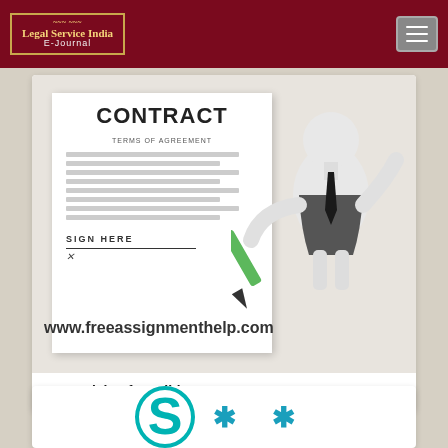Legal Service India E-Journal
[Figure (illustration): Illustration of a contract document with 'CONTRACT' and 'TERMS OF AGREEMENT' text, 'SIGN HERE' label and an X mark at the bottom, alongside a 3D cartoon figure of a person in a business suit holding a green pen, with watermark text 'www.freeassignmenthelp.com']
Essentials of a Valid Contract
[Figure (logo): Partial view of a teal circular S symbol with asterisk decorations on a white card background]